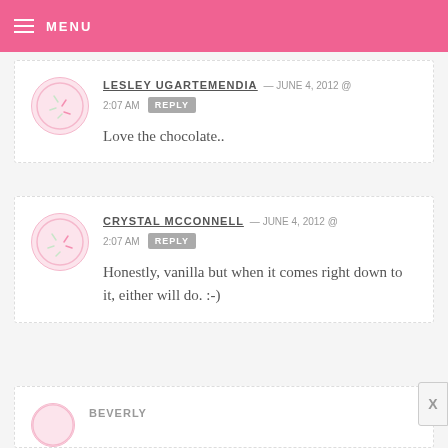MENU
LESLEY UGARTEMENDIA — JUNE 4, 2012 @ 2:07 AM  REPLY
Love the chocolate..
CRYSTAL MCCONNELL — JUNE 4, 2012 @ 2:07 AM  REPLY
Honestly, vanilla but when it comes right down to it, either will do. :-)
BEVERLY